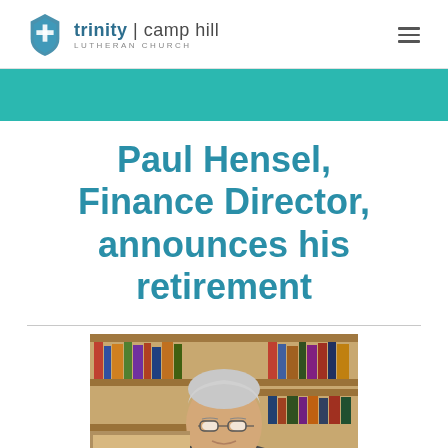trinity | camp hill LUTHERAN CHURCH
Paul Hensel, Finance Director, announces his retirement
[Figure (photo): Photo of Paul Hensel, an older man with silver/white hair and glasses, seated in front of bookshelves filled with books and binders]